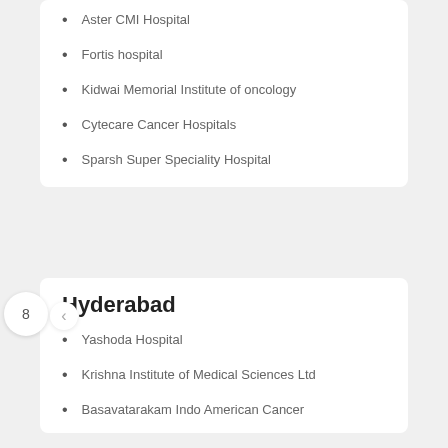Aster CMI Hospital
Fortis hospital
Kidwai Memorial Institute of oncology
Cytecare Cancer Hospitals
Sparsh Super Speciality Hospital
Hyderabad
Yashoda Hospital
Krishna Institute of Medical Sciences Ltd
Basavatarakam Indo American Cancer